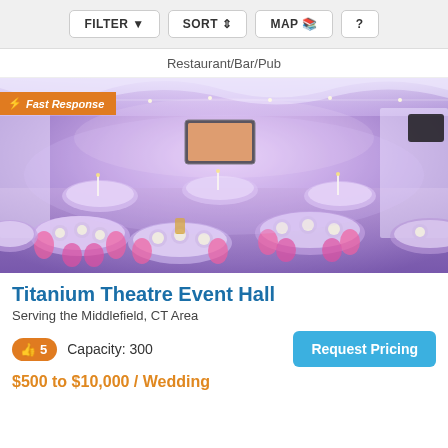FILTER  SORT  MAP  ?
Restaurant/Bar/Pub
[Figure (photo): Interior of Titanium Theatre Event Hall showing a banquet setup with round tables covered in white linens with pink chair sashes, candles, place settings, purple ambient lighting, white draped ceiling, and a flat-screen TV mounted on the wall. A 'Fast Response' badge with lightning bolt is overlaid in the top-left corner.]
Titanium Theatre Event Hall
Serving the Middlefield, CT Area
5  Capacity: 300
Request Pricing
$500 to $10,000 / Wedding